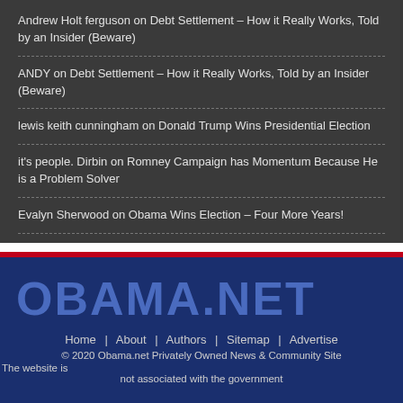Andrew Holt ferguson on Debt Settlement – How it Really Works, Told by an Insider (Beware)
ANDY on Debt Settlement – How it Really Works, Told by an Insider (Beware)
lewis keith cunningham on Donald Trump Wins Presidential Election
it's people. Dirbin on Romney Campaign has Momentum Because He is a Problem Solver
Evalyn Sherwood on Obama Wins Election – Four More Years!
[Figure (other): Decorative divider bar with white, red, and dark blue horizontal stripes]
OBAMA.NET
Home | About | Authors | Sitemap | Advertise
© 2020 Obama.net Privately Owned News & Community Site
The website is not associated with the government